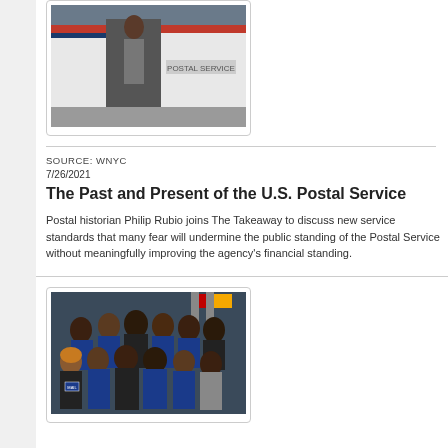[Figure (photo): A USPS postal worker near a postal delivery vehicle/truck, partially visible, standing at the door of the vehicle.]
SOURCE: WNYC
7/26/2021
The Past and Present of the U.S. Postal Service
Postal historian Philip Rubio joins The Takeaway to discuss new service standards that many fear will undermine the public standing of the Postal Service without meaningfully improving the agency's financial standing.
[Figure (photo): A group photo of approximately 20-25 people, many wearing blue and black shirts, some with U.S. Mail branding, posing together indoors with flags visible in the background.]